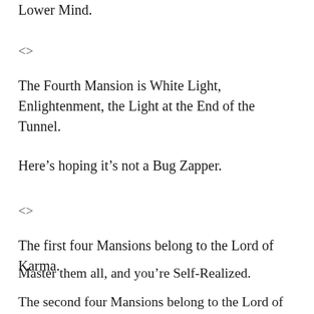Lower Mind.
<>
The Fourth Mansion is White Light, Enlightenment, the Light at the End of the Tunnel.
Here’s hoping it’s not a Bug Zapper.
<>
The first four Mansions belong to the Lord of Karma.
Master them all, and you’re Self-Realized.
The second four Mansions belong to the Lord of the Soul.